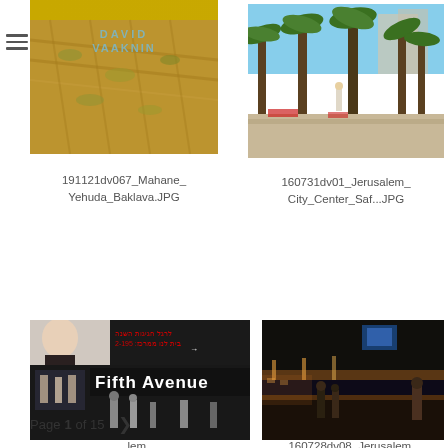[Figure (photo): Baklava food photo with David Vaaknin photographer watermark overlay at top]
191121dv067_Mahane_
Yehuda_Baklava.JPG
[Figure (photo): Jerusalem City Center with palm trees and pedestrians in daylight]
160731dv01_Jerusalem_
City_Center_Saf...JPG
[Figure (photo): Fifth Avenue store front in Jerusalem with people walking]
[Figure (photo): Jerusalem City Center at night with tram tracks and lights]
Page 1 of 15 >
lem_
160728dv08_Jerusalem_